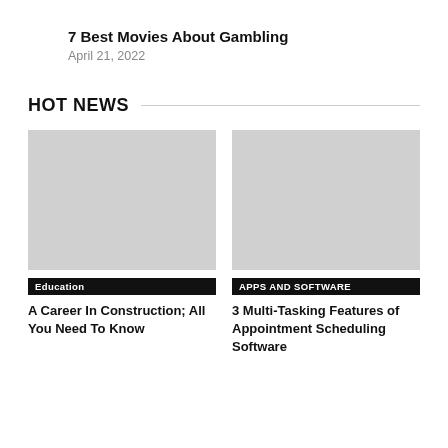7 Best Movies About Gambling
April 21, 2022
HOT NEWS
[Figure (photo): Gray placeholder image for Education article]
Education
A Career In Construction; All You Need To Know
[Figure (photo): Gray placeholder image for Apps and Software article]
APPS AND SOFTWARE
3 Multi-Tasking Features of Appointment Scheduling Software